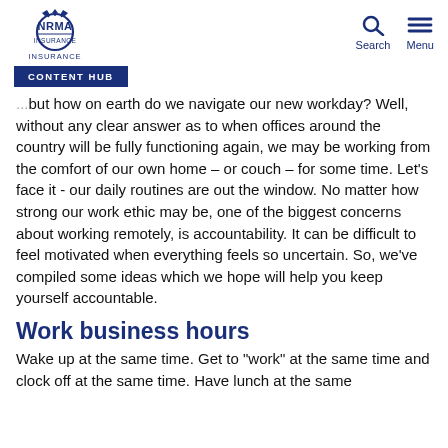NRMA Insurance | Search | Menu
CONTENT HUB
but how on earth do we navigate our new workday? Well, without any clear answer as to when offices around the country will be fully functioning again, we may be working from the comfort of our own home – or couch – for some time. Let's face it - our daily routines are out the window. No matter how strong our work ethic may be, one of the biggest concerns about working remotely, is accountability. It can be difficult to feel motivated when everything feels so uncertain. So, we've compiled some ideas which we hope will help you keep yourself accountable.
Work business hours
Wake up at the same time. Get to "work" at the same time and clock off at the same time.  Have lunch at the same